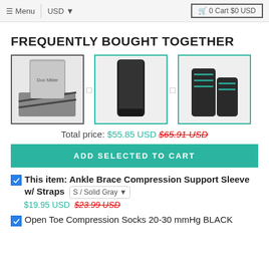≡ Menu | USD ▼   🛒 0 Cart $0 USD
FREQUENTLY BOUGHT TOGETHER
[Figure (photo): Three product images side by side: ankle brace compression support sleeve with straps, open toe compression socks, and ankle compression socks with teal stripes. Connected with plus icons between them.]
Total price: $55.85 USD $65.91 USD
ADD SELECTED TO CART
This item: Ankle Brace Compression Support Sleeve w/ Straps  S / Solid Gray  $19.95 USD  $23.99 USD
Open Toe Compression Socks 20-30 mmHg BLACK